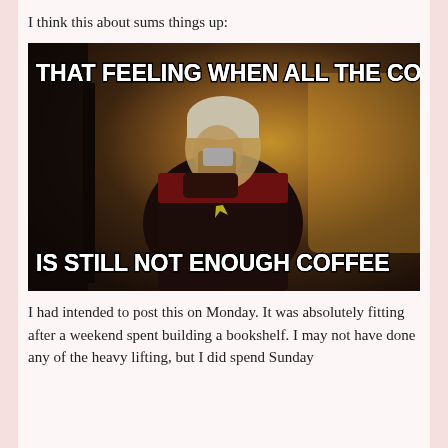I think this about sums things up:
[Figure (photo): Meme image with dark background showing a person in a Star Trek uniform holding something to their face, with white bold text overlay reading 'THAT FEELING WHEN ALL THE COFFEE' at top and 'IS STILL NOT ENOUGH COFFEE' at bottom.]
I had intended to post this on Monday. It was absolutely fitting after a weekend spent building a bookshelf. I may not have done any of the heavy lifting, but I did spend Sunday